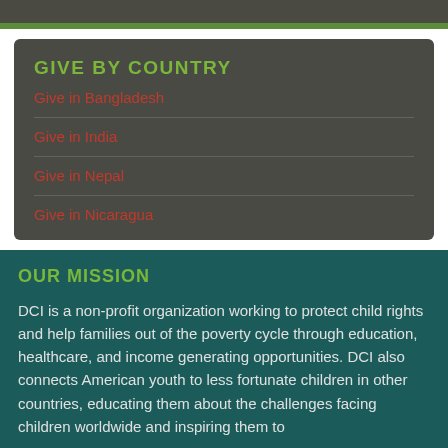GIVE BY COUNTRY
Give in Bangladesh
Give in India
Give in Nepal
Give in Nicaragua
OUR MISSION
DCI is a non-profit organization working to protect child rights and help families out of the poverty cycle through education, healthcare, and income generating opportunities. DCI also connects American youth to less fortunate children in other countries, educating them about the challenges facing children worldwide and inspiring them to